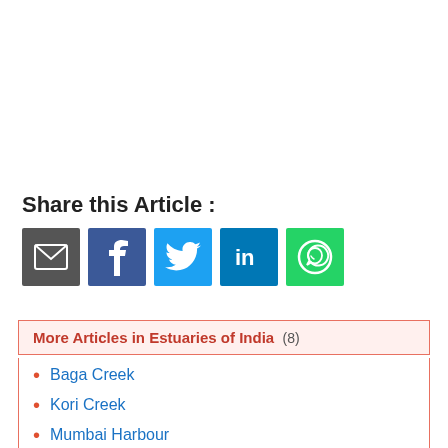Share this Article :
[Figure (infographic): Social share buttons: Email, Facebook, Twitter, LinkedIn, WhatsApp]
More Articles in Estuaries of India (8)
Baga Creek
Kori Creek
Mumbai Harbour
Panvel Creek
Sir Creek